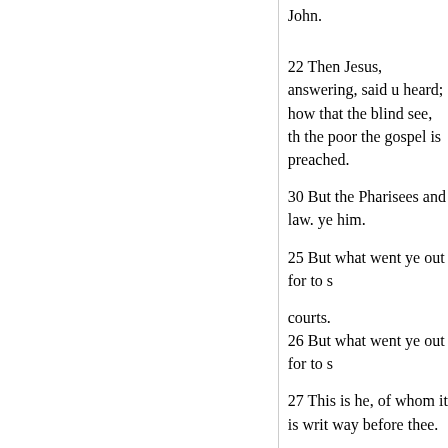John.
22 Then Jesus, answering, said u heard; how that the blind see, th the poor the gospel is preached.
30 But the Pharisees and law. ye him.
25 But what went ye out for to s
courts.
26 But what went ye out for to s
27 This is he, of whom it is writ way before thee.
28 For I say unto you, A. mong Baptist : but he that is least in th
31 And the Lord said, Whereunt
32 They are like unto children have piped unto you, and ye ha